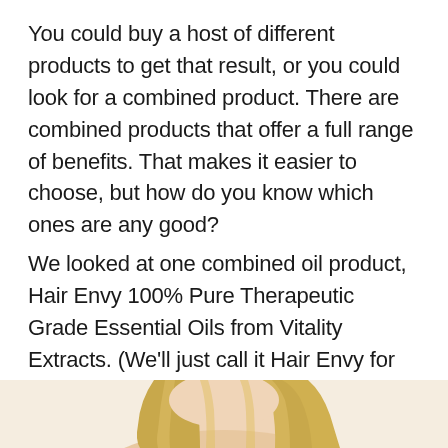You could buy a host of different products to get that result, or you could look for a combined product. There are combined products that offer a full range of benefits. That makes it easier to choose, but how do you know which ones are any good?
We looked at one combined oil product, Hair Envy 100% Pure Therapeutic Grade Essential Oils from Vitality Extracts. (We'll just call it Hair Envy for the rest of the article.) We will take a look at this oil and let you know how it stacks up.
[Figure (photo): Bottom portion of page showing a woman with blonde hair, partial view from shoulders up against a light beige/cream background]